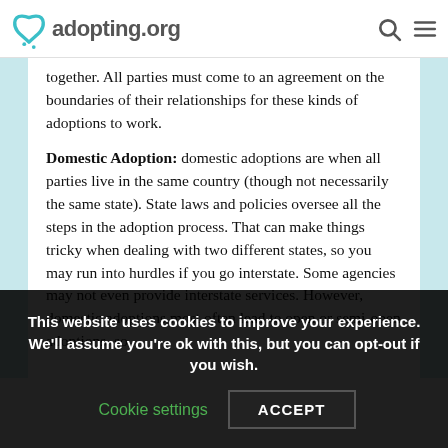adopting.org
together. All parties must come to an agreement on the boundaries of their relationships for these kinds of adoptions to work.
Domestic Adoption: domestic adoptions are when all parties live in the same country (though not necessarily the same state). State laws and policies oversee all the steps in the adoption process. That can make things tricky when dealing with two different states, so you may run into hurdles if you go interstate. Some agencies may not even provide interstate services. However, domestic adoptions most often lead to open or semi-open adoptions, so
This website uses cookies to improve your experience. We'll assume you're ok with this, but you can opt-out if you wish. Cookie settings ACCEPT